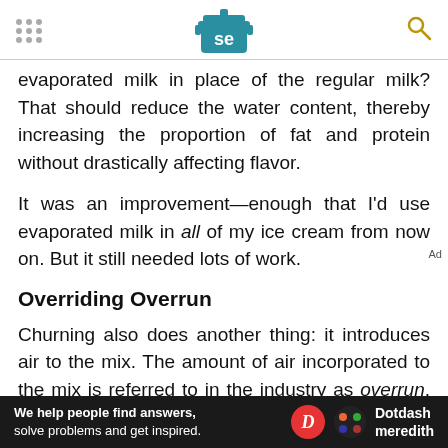Serious Eats logo and navigation
evaporated milk in place of the regular milk? That should reduce the water content, thereby increasing the proportion of fat and protein without drastically affecting flavor.
It was an improvement—enough that I'd use evaporated milk in all of my ice cream from now on. But it still needed lots of work.
Overriding Overrun
Churning also does another thing: it introduces air to the mix. The amount of air incorporated to the mix is referred to in the industry as overrun, and is